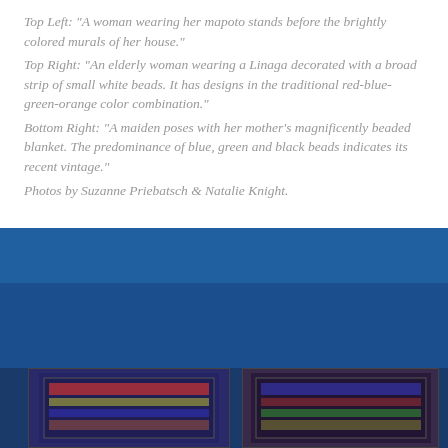Top Left: “A woman wearing her mapoto stands before the brightly colored murals of her house.” Top Right: “An elderly woman wearing a Linaga decorated with a broad strip of small white beads. It has designs in the traditional red-blue-green-orange color combination.” Bottom Right: “A maiden poses with her mother’s magnificently beaded blanket. The predominance of blue, green and black beads indicates its recent vintage.” Photos by Suzanne Priebatsch & Natalie Knight.
[Figure (photo): A blue-dominant image area showing textile/blanket photographs partially visible at the bottom, overlaid by a cookie consent banner.]